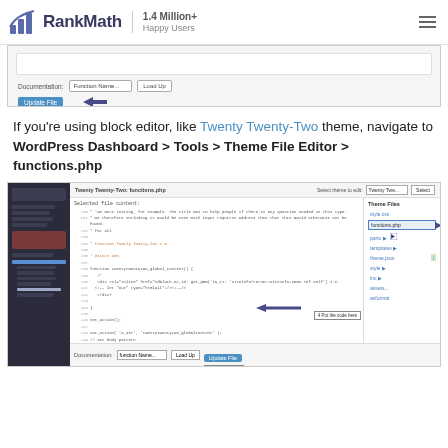RankMath — 1.4 Million+ Happy Users
[Figure (screenshot): Partial screenshot of WordPress Theme File Editor showing Documentation dropdown, Function Name... select box, Load Up button, and Update File button with left-pointing arrow]
If you're using block editor, like Twenty Twenty-Two theme, navigate to WordPress Dashboard > Tools > Theme File Editor > functions.php
[Figure (screenshot): Full screenshot of WordPress Theme File Editor showing Twenty Twenty-Two functions.php open, with code lines visible, Theme Files panel on right showing functions.php highlighted, and annotations: arrow pointing to code area labeled '4 Put the code here', Update File button labeled '5 Save changes', and number 2 pointing to Theme File Editor menu item]